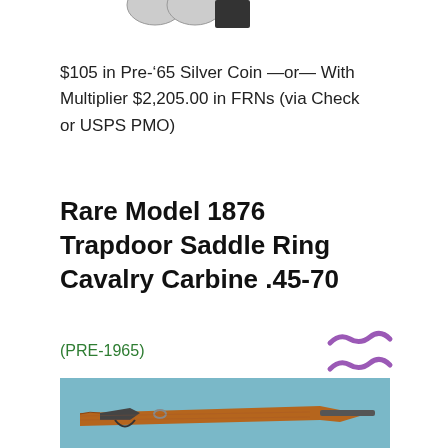[Figure (photo): Partial image of coins or medals at the top of the page, partially cut off]
$105 in Pre-'65 Silver Coin —or— With Multiplier $2,205.00 in FRNs (via Check or USPS PMO)
Rare Model 1876 Trapdoor Saddle Ring Cavalry Carbine .45-70
[Figure (other): Two purple curved tilde/wave symbols]
(PRE-1965)
[Figure (photo): Photo of a Model 1876 Trapdoor Saddle Ring Cavalry Carbine rifle with wooden stock on a blue background]